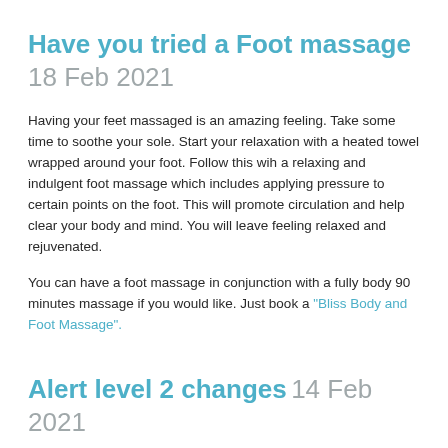Have you tried a Foot massage 18 Feb 2021
Having your feet massaged is an amazing feeling. Take some time to soothe your sole. Start your relaxation with a heated towel wrapped around your foot. Follow this wih a relaxing and indulgent foot massage which includes applying pressure to certain points on the foot. This will promote circulation and help clear your body and mind. You will leave feeling relaxed and rejuvenated.
You can have a foot massage in conjunction with a fully body 90 minutes massage if you would like. Just book a "Bliss Body and Foot Massage".
Alert level 2 changes 14 Feb 2021